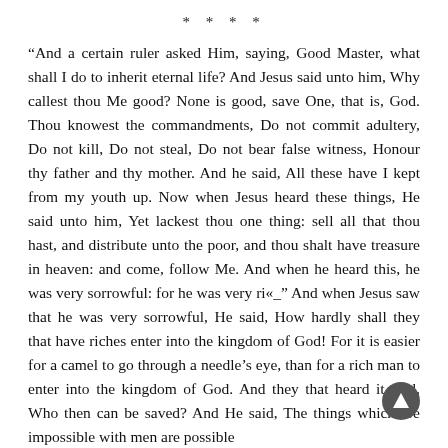* * * *
“And a certain ruler asked Him, saying, Good Master, what shall I do to inherit eternal life? And Jesus said unto him, Why callest thou Me good? None is good, save One, that is, God. Thou knowest the commandments, Do not commit adultery, Do not kill, Do not steal, Do not bear false witness, Honour thy father and thy mother. And he said, All these have I kept from my youth up. Now when Jesus heard these things, He said unto him, Yet lackest thou one thing: sell all that thou hast, and distribute unto the poor, and thou shalt have treasure in heaven: and come, follow Me. And when he heard this, he was very sorrowful: for he was very ri«_” And when Jesus saw that he was very sorrowful, He said, How hardly shall they that have riches enter into the kingdom of God! For it is easier for a camel to go through a needle’s eye, than for a rich man to enter into the kingdom of God. And they that heard it said, Who then can be saved? And He said, The things which are impossible with men are possible